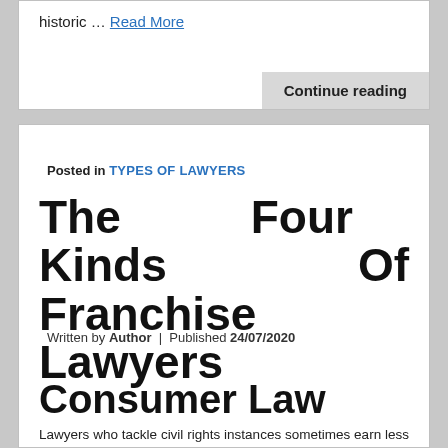historic … Read More
Continue reading
Posted in TYPES OF LAWYERS
The Four Kinds Of Franchise Lawyers
Written by Author | Published 24/07/2020
Consumer Law
Lawyers who tackle civil rights instances sometimes earn less than attorneys who select